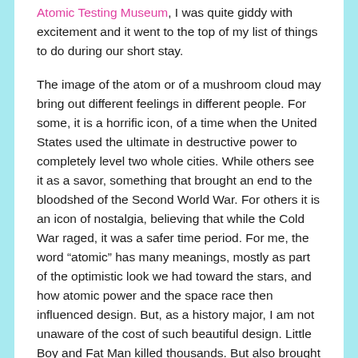Atomic Testing Museum, I was quite giddy with excitement and it went to the top of my list of things to do during our short stay.
The image of the atom or of a mushroom cloud may bring out different feelings in different people. For some, it is a horrific icon, of a time when the United States used the ultimate in destructive power to completely level two whole cities. While others see it as a savor, something that brought an end to the bloodshed of the Second World War. For others it is an icon of nostalgia, believing that while the Cold War raged, it was a safer time period. For me, the word “atomic” has many meanings, mostly as part of the optimistic look we had toward the stars, and how atomic power and the space race then influenced design. But, as a history major, I am not unaware of the cost of such beautiful design. Little Boy and Fat Man killed thousands. But also brought an end to a very horrific war, and, some historians estimate, saved millions, as Japan seemed unrelenting. I see both sides of the coin of the tone of the atomic bomb and space age offer, as both the